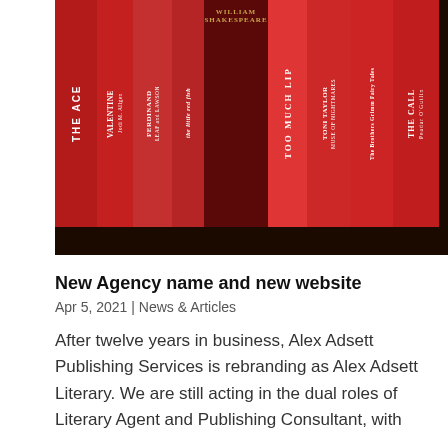[Figure (photo): A shelf of red-spined books including titles: The Ace, Valentine, Ferdinand, the little red fish, William Shakespeare (dark red/maroon volume), Too Much Lip by Melissa Lucashenko, Toni Taylor Muse of Nightmares, The Brothers Grimm Fairy Tales, The Call by Peadar O'Guilin]
New Agency name and new website
Apr 5, 2021 | News & Articles
After twelve years in business, Alex Adsett Publishing Services is rebranding as Alex Adsett Literary. We are still acting in the dual roles of Literary Agent and Publishing Consultant, with